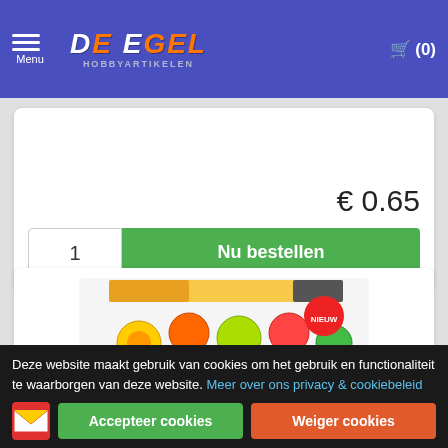Menu | De Egel Hobbyartikelen | Cart (0)
€ 0.65
1 | Nu bestellen
[Figure (photo): Cartoon fruit characters sticker sheet product image]
Deze website maakt gebruik van cookies om het gebruik en functionaliteit te waarborgen van deze website. Meer over ons privacy & cookiebeleid
Accepteer cookies | Weiger cookies